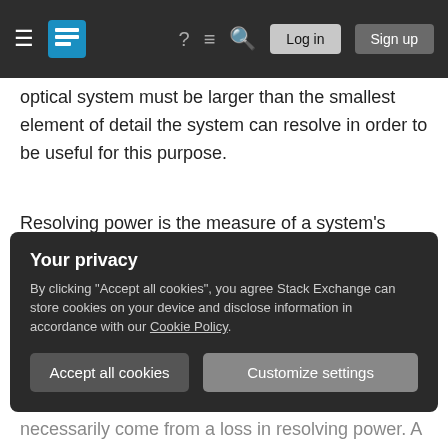Stack Exchange navigation bar with hamburger menu, logo, help, chat, search icons, Log in and Sign up buttons
optical system must be larger than the smallest element of detail the system can resolve in order to be useful for this purpose.
Resolving power is the measure of a system's ability to separate fine elements of very small detail. If a thin black line neighbors a thin white line, a lens with high resolving power will be able to accurately separate the two. Both lines should be observable in the projection from the lens. A lens with low resolving power will begin to blur the lines together,
Your privacy
By clicking "Accept all cookies", you agree Stack Exchange can store cookies on your device and disclose information in accordance with our Cookie Policy.
necessarily come from a loss in resolving power. A